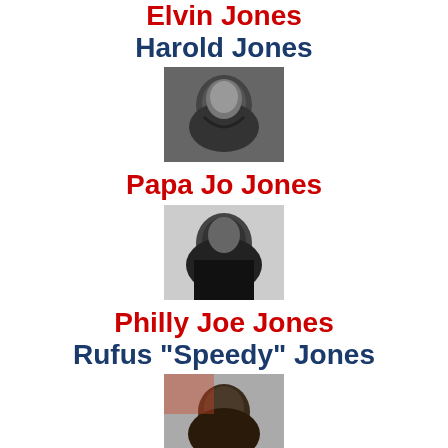Elvin Jones
Harold Jones
[Figure (photo): Black and white photo of a smiling man]
Papa Jo Jones
[Figure (photo): Black and white photo of a man with hand near face]
Philly Joe Jones
Rufus "Speedy" Jones
[Figure (photo): Color photo of a man]
Steve Jordan
Joey Jordison
Jonathan Joseph
Manu Katché
Senri Kawaguchi
[Figure (photo): Partial photo at bottom of page]